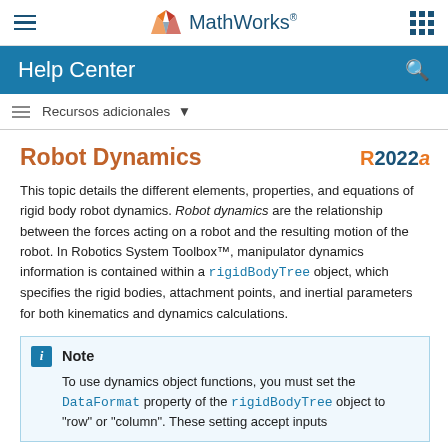MathWorks Help Center
Robot Dynamics
This topic details the different elements, properties, and equations of rigid body robot dynamics. Robot dynamics are the relationship between the forces acting on a robot and the resulting motion of the robot. In Robotics System Toolbox™, manipulator dynamics information is contained within a rigidBodyTree object, which specifies the rigid bodies, attachment points, and inertial parameters for both kinematics and dynamics calculations.
Note
To use dynamics object functions, you must set the DataFormat property of the rigidBodyTree object to "row" or "column". These setting accept inputs